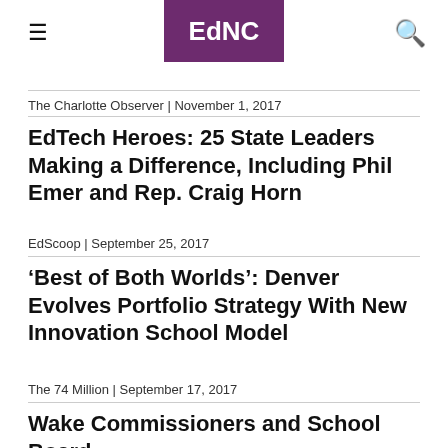EdNC
The Charlotte Observer | November 1, 2017
EdTech Heroes: 25 State Leaders Making a Difference, Including Phil Emer and Rep. Craig Horn
EdScoop | September 25, 2017
‘Best of Both Worlds’: Denver Evolves Portfolio Strategy With New Innovation School Model
The 74 Million | September 17, 2017
Wake Commissioners and School Board